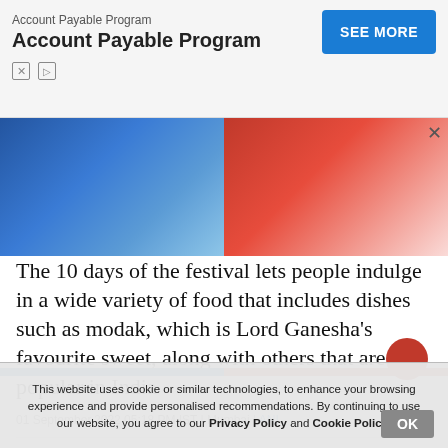[Figure (screenshot): Advertisement banner for Account Payable Program with SEE MORE blue button and close/play icons]
[Figure (photo): Image split into blue (left) and red (right) halves, likely a flag or decorative image, with a close X button]
The 10 days of the festival lets people indulge in a wide variety of food that includes dishes such as modak, which is Lord Ganesha's favourite sweet, along with others that are also popular in India
01 September,2022 05:18 PM IST | Mumbai | ANI
Sports News
Ex-NZ and MI pacer McClenaghan makes damning statement on New Zealand cricket
This website uses cookie or similar technologies, to enhance your browsing experience and provide personalised recommendations. By continuing to use our website, you agree to our Privacy Policy and Cookie Policy.